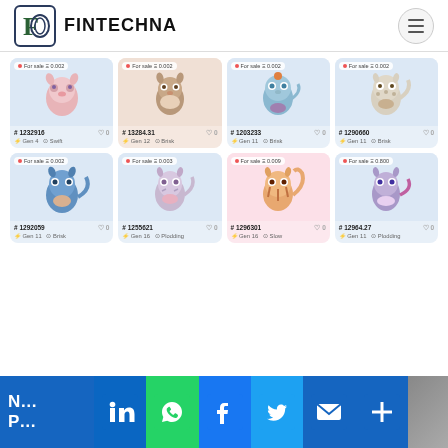FINTECHNA
[Figure (screenshot): Grid of 8 CryptoKitties NFT cards arranged in 2 rows of 4. Each card shows a cartoon cat illustration with a 'For sale' badge showing price in ETH, a cat ID number, generation, and breed label.]
N... P...
[Figure (infographic): Social sharing bar with LinkedIn, WhatsApp, Facebook, Twitter, Email, and More buttons]